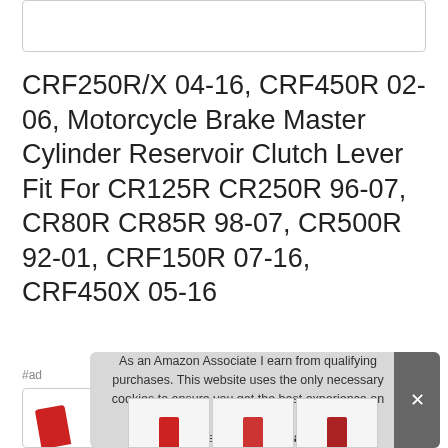[Figure (other): Top partial box/image placeholder]
CRF250R/X 04-16, CRF450R 02-06, Motorcycle Brake Master Cylinder Reservoir Clutch Lever Fit For CR125R CR250R 96-07, CR80R CR85R 98-07, CR500R 92-01, CRF150R 07-16, CRF450X 05-16
#ad
[Figure (photo): Partial product photo at bottom left with red motorcycle part]
As an Amazon Associate I earn from qualifying purchases. This website uses the only necessary cookies to ensure you get the best experience on our website. More information
[Figure (photo): Thumbnail product images at bottom]
[Figure (photo): Thumbnail product images at bottom]
[Figure (photo): Thumbnail product images at bottom]